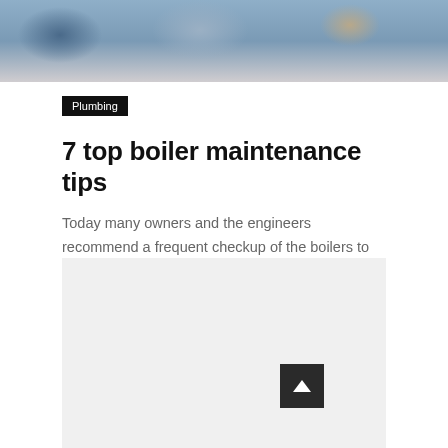[Figure (photo): Photo of plumber/engineer in blue uniform holding a toolbox with tools, partially visible at top of page]
Plumbing
7 top boiler maintenance tips
Today many owners and the engineers recommend a frequent checkup of the boilers to ensure the safety, efficacy and reliability of the equipment. These inspection...
[Figure (other): Light gray placeholder/advertisement box in lower half of page]